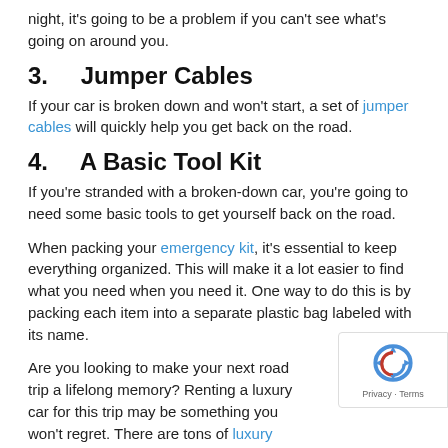night, it's going to be a problem if you can't see what's going on around you.
3.   Jumper Cables
If your car is broken down and won't start, a set of jumper cables will quickly help you get back on the road.
4.   A Basic Tool Kit
If you're stranded with a broken-down car, you're going to need some basic tools to get yourself back on the road.
When packing your emergency kit, it's essential to keep everything organized. This will make it a lot easier to find what you need when you need it. One way to do this is by packing each item into a separate plastic bag labeled with its name.
Are you looking to make your next road trip a lifelong memory? Renting a luxury car for this trip may be something you won't regret. There are tons of luxury rentals options for you to consider. LVC Exotics brings